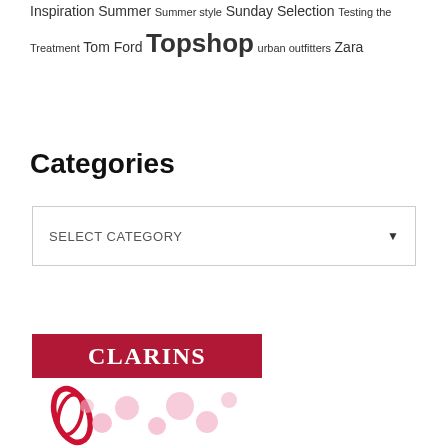Inspiration Summer Summer style Sunday Selection Testing the Treatment Tom Ford Topshop urban outfitters Zara
Categories
SELECT CATEGORY
[Figure (logo): Clarins brand logo banner with red background and white serif text reading CLARINS, with a red ribbon and pink decorative dots below]